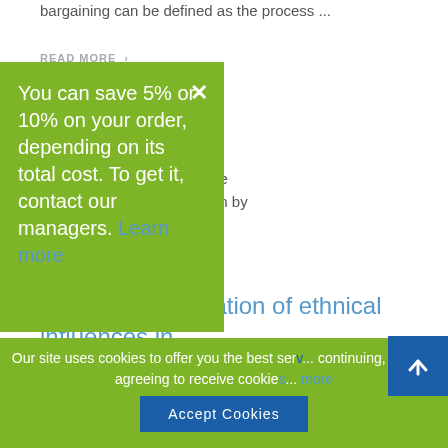bargaining can be defined as the process ...
READ MORE >
...essayy
sort of what is called a “rape ught to think and take action by everyone we ...
READ MORE >
A critical examination of ethnical influences in
You can save 5% or 10% on your order, depending on its total cost. To get it, contact our managers. Learn more
Our site uses cookies to offer you the best ser... continuing, you are agreeing to receive cookie... more
Accept Cookies